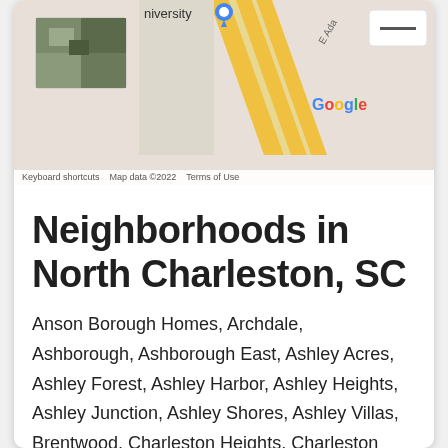[Figure (map): Google Maps screenshot showing a partial street map with yellow diagonal road markings, a satellite photo thumbnail in the upper left, Google logo, and map attribution text at the bottom: 'Keyboard shortcuts   Map data ©2022   Terms of Use']
Neighborhoods in North Charleston, SC
Anson Borough Homes, Archdale, Ashborough, Ashborough East, Ashley Acres, Ashley Forest, Ashley Harbor, Ashley Heights, Ashley Junction, Ashley Shores, Ashley Villas, Brentwood, Charleston Heights, Charleston